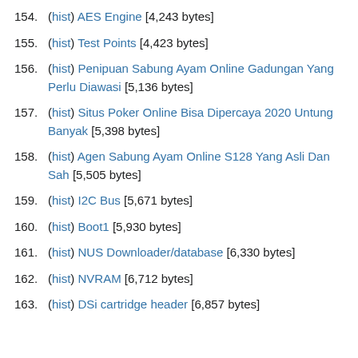154. (hist) AES Engine [4,243 bytes]
155. (hist) Test Points [4,423 bytes]
156. (hist) Penipuan Sabung Ayam Online Gadungan Yang Perlu Diawasi [5,136 bytes]
157. (hist) Situs Poker Online Bisa Dipercaya 2020 Untung Banyak [5,398 bytes]
158. (hist) Agen Sabung Ayam Online S128 Yang Asli Dan Sah [5,505 bytes]
159. (hist) I2C Bus [5,671 bytes]
160. (hist) Boot1 [5,930 bytes]
161. (hist) NUS Downloader/database [6,330 bytes]
162. (hist) NVRAM [6,712 bytes]
163. (hist) DSi cartridge header [6,857 bytes]